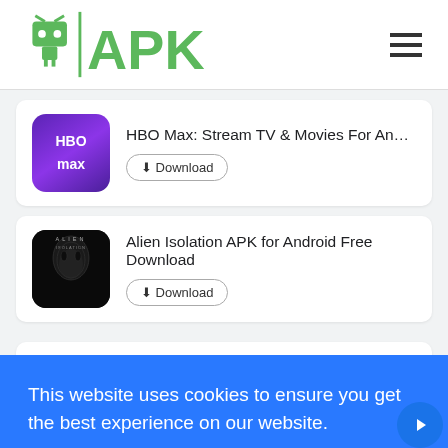APKPure - Android APK download website header with hamburger menu
HBO Max: Stream TV & Movies For Android - Fre...
Download
Alien Isolation APK for Android Free Download
ow...
This website uses cookies to ensure you get the best experience on our website.
Learn more
Got it!
Download